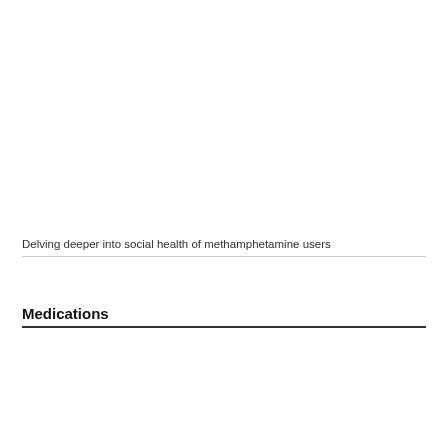Delving deeper into social health of methamphetamine users
Medications